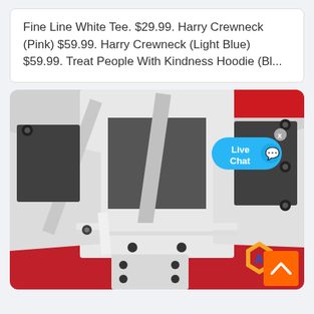Fine Line White Tee. $29.99. Harry Crewneck (Pink) $59.99. Harry Crewneck (Light Blue) $59.99. Treat People With Kindness Hoodie (Bl...
[Figure (photo): Close-up photo of industrial machinery (appears to be a sewing or textile machine) with white metal frame, dark components, bolts and mechanical parts. A 'Live Chat' bubble overlay is visible in the top right corner, along with a back-to-top button and a hexagonal logo (A) in the bottom right.]